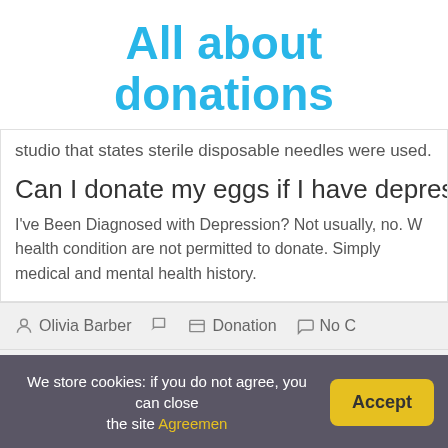All about donations
studio that states sterile disposable needles were used.
Can I donate my eggs if I have depression
I've Been Diagnosed with Depression? Not usually, no. Women with a serious mental health condition are not permitted to donate. Simply... medical and mental health history.
Olivia Barber   Donation   No C
← FAQ: What Is The Average Donation To A Church?
We store cookies: if you do not agree, you can close the site Agreement